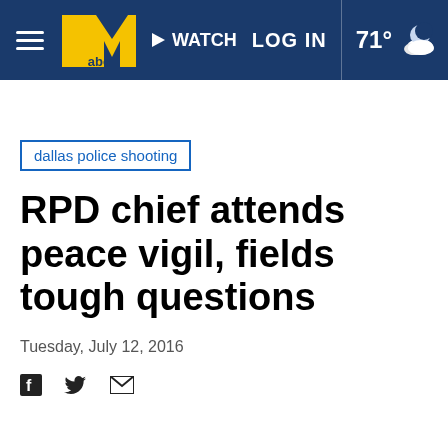WATCH | LOG IN | 71°
dallas police shooting
RPD chief attends peace vigil, fields tough questions
Tuesday, July 12, 2016